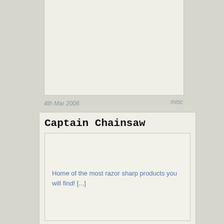[Figure (other): Top blog post card with image area, partially cut off at top of page]
4th Mar 2006	misc
Captain Chainsaw
Home of the most razor sharp products you will find! [...]